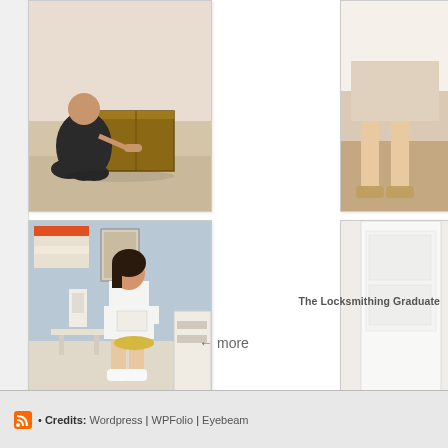[Figure (photo): Person kneeling on wooden floor reaching into or placing something in a wooden crate/box]
[Figure (photo): Partial photo on right side showing person's legs and feet, partially cropped]
[Figure (photo): Young woman with dark hair sitting on a stool in an art studio/room, reading or writing, wearing white top and shorts, white sneakers, with artwork and furniture visible]
[Figure (photo): Partial photo on right side showing white door/wall, partially cropped]
The Locksmithing Graduate
← more
• Credits: Wordpress | WPFolio | Eyebeam